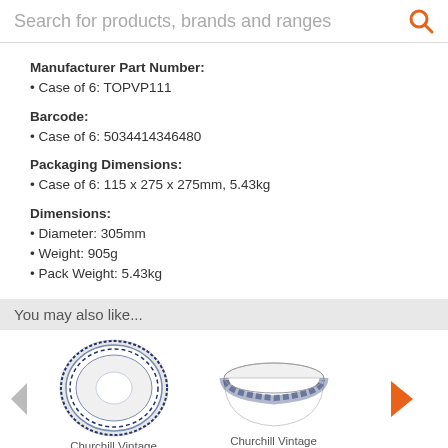Search for products, brands and ranges
Manufacturer Part Number:
Case of 6: TOPVP111
Barcode:
Case of 6: 5034414346480
Packaging Dimensions:
Case of 6: 115 x 275 x 275mm, 5.43kg
Dimensions:
Diameter: 305mm
Weight: 905g
Pack Weight: 5.43kg
You may also like...
[Figure (photo): Churchill Vintage blue and white decorative plate/saucer viewed from above]
[Figure (photo): Churchill Vintage blue and white decorative bowl]
Churchill Vintage
Churchill Vintage